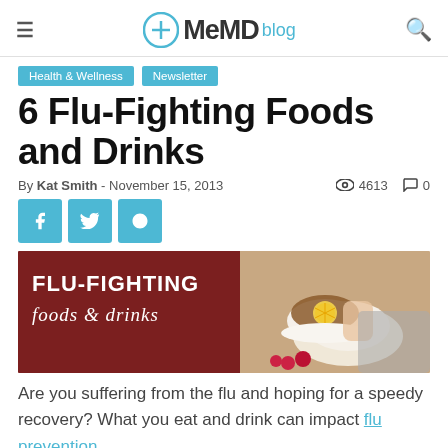MeMD blog
Health & Wellness
Newsletter
6 Flu-Fighting Foods and Drinks
By Kat Smith - November 15, 2013  4613  0
[Figure (photo): Banner image with text FLU-FIGHTING FOODS & DRINKS on a dark red background on the left, and a photo of a person holding a white cup of tea with a lemon slice, with raspberries in the foreground on the right.]
Are you suffering from the flu and hoping for a speedy recovery? What you eat and drink can impact flu prevention...